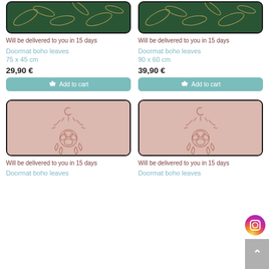[Figure (photo): Doormat with dark green boho leaves pattern, top portion visible]
[Figure (photo): Doormat with dark green boho leaves pattern, top portion visible]
Will be delivered to you in 15 days
Will be delivered to you in 15 days
Doormat boho leaves 75 x 45 cm
Doormat boho leaves 90 x 60 cm
29,90 €
39,90 €
Add to cart
Add to cart
[Figure (photo): Pink doormat with boho floral/moon design]
[Figure (photo): Pink doormat with boho floral/moon design]
Will be delivered to you in 15 days
Will be delivered to you in 15 days